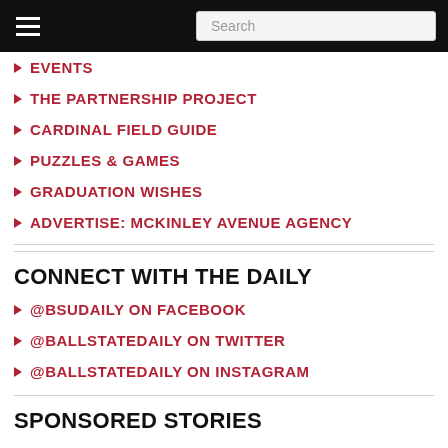Search
EVENTS
THE PARTNERSHIP PROJECT
CARDINAL FIELD GUIDE
PUZZLES & GAMES
GRADUATION WISHES
ADVERTISE: MCKINLEY AVENUE AGENCY
CONNECT WITH THE DAILY
@BSUDAILY ON FACEBOOK
@BALLSTATEDAILY ON TWITTER
@BALLSTATEDAILY ON INSTAGRAM
SPONSORED STORIES